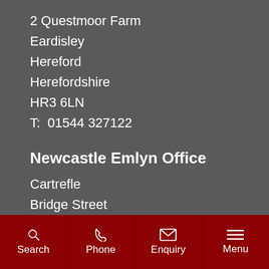2 Questmoor Farm
Eardisley
Hereford
Herefordshire
HR3 6LN
T:  01544 327122
Newcastle Emlyn Office
Cartrefle
Bridge Street
Newcastle Emlyn
Carmarthenshire
SA38 9DX
T:  01239 710942
Search | Phone | Enquiry | Menu